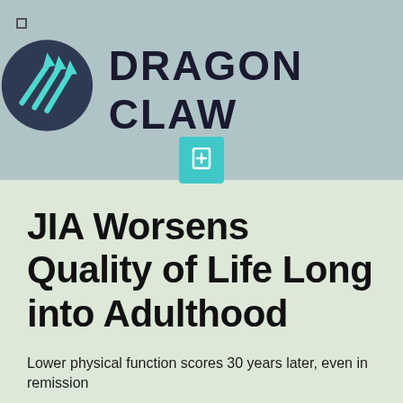[Figure (logo): Dragon Claw logo with circular icon featuring diagonal arrow lines and brand name text]
JIA Worsens Quality of Life Long into Adulthood
Lower physical function scores 30 years later, even in remission
Judy George, August 05, 2017
MedPage Today